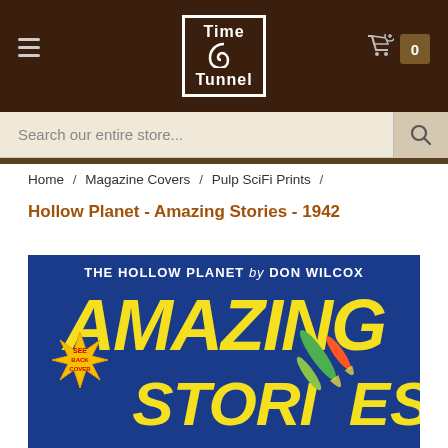[Figure (screenshot): Time Tunnel store website header with dark brown background, hamburger menu icon on left, Time Tunnel logo in center (white text in bordered box with spiral), shopping cart icon and badge showing 0 on right]
[Figure (screenshot): Search bar with placeholder text 'Search our entire store...' and magnifying glass icon on right]
Home / Magazine Covers / Pulp SciFi Prints /
Hollow Planet - Amazing Stories - 1942
[Figure (illustration): Pulp science fiction magazine cover for Amazing Stories 1942 featuring 'The Hollow Planet by Don Wilcox' text at top, large yellow AMAZING STORIES lettering on blue background, with a 'See Back Cover' starburst badge and a spaceship/rocket illustration]